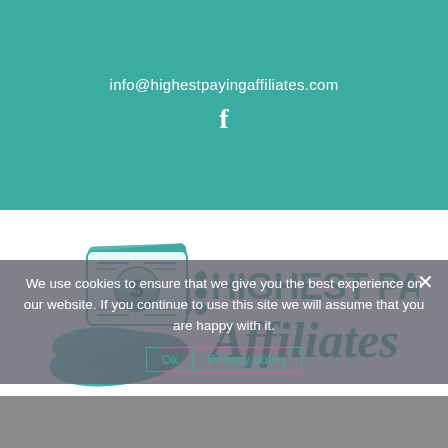info@highestpayingaffiliates.com
[Figure (logo): Highest Paying Affiliates logo with hand holding money and stylized text]
Go to...
We use cookies to ensure that we give you the best experience on our website. If you continue to use this site we will assume that you are happy with it.
Ok  Privacy policy